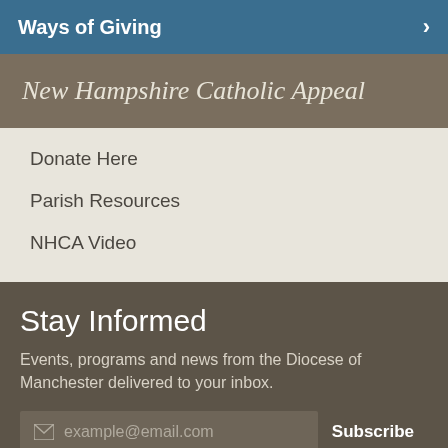Ways of Giving
New Hampshire Catholic Appeal
Donate Here
Parish Resources
NHCA Video
Stay Informed
Events, programs and news from the Diocese of Manchester delivered to your inbox.
example@email.com
Subscribe
The Diocese of Manchester
153 Ash Street
Manchester, NH 03104